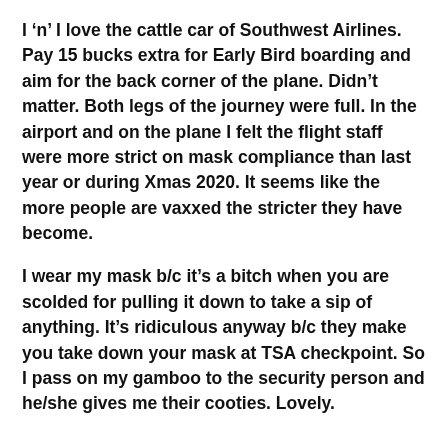I 'n' I love the cattle car of Southwest Airlines. Pay 15 bucks extra for Early Bird boarding and aim for the back corner of the plane. Didn't matter. Both legs of the journey were full. In the airport and on the plane I felt the flight staff were more strict on mask compliance than last year or during Xmas 2020. It seems like the more people are vaxxed the stricter they have become.
I wear my mask b/c it's a bitch when you are scolded for pulling it down to take a sip of anything. It's ridiculous anyway b/c they make you take down your mask at TSA checkpoint. So I pass on my gamboo to the security person and he/she gives me their cooties. Lovely.